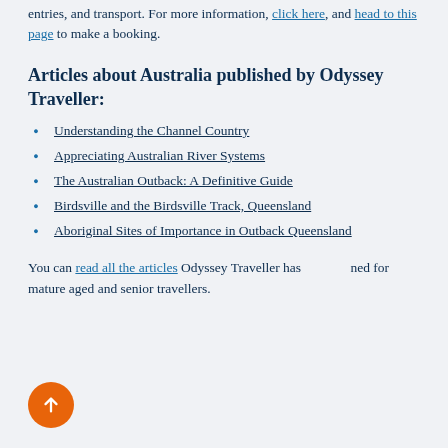entries, and transport. For more information, click here, and head to this page to make a booking.
Articles about Australia published by Odyssey Traveller:
Understanding the Channel Country
Appreciating Australian River Systems
The Australian Outback: A Definitive Guide
Birdsville and the Birdsville Track, Queensland
Aboriginal Sites of Importance in Outback Queensland
You can read all the articles Odyssey Traveller has ned for mature aged and senior travellers.